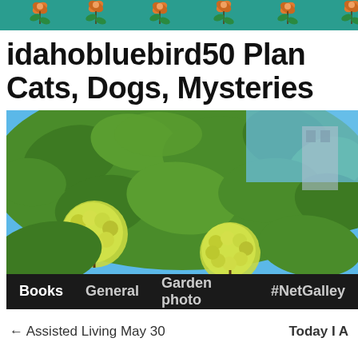idahobluebird50 Plants, Cats, Dogs, Mysteries
idahobluebird50 Plants, Cats, Dogs, Mysteries
[Figure (photo): Close-up photo of green hydrangea or similar flowering plant clusters with large leaves against a blue sky background]
Books   General   Garden photo   #NetGalley
← Assisted Living May 30
Today I A